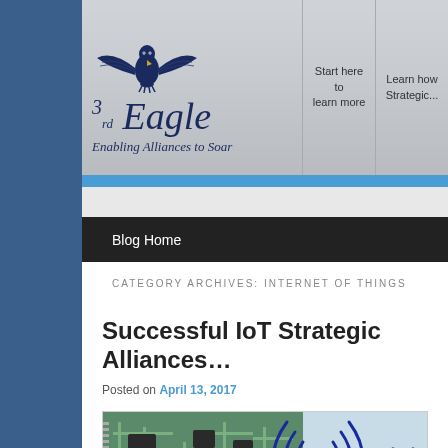[Figure (logo): 3rd Eagle logo with eagle bird illustration above text]
3rd Eagle — Enabling Alliances to Soar
Start here to learn more
Learn how Strategic...
Blog Home
CATEGORY ARCHIVES: INTERNET OF THINGS
Successful IoT Strategic Alliances
Posted on April 13, 2017
[Figure (photo): IoT circuit board with wireless signal waves illustration]